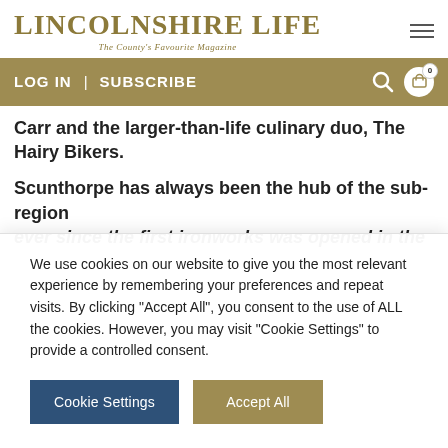LINCOLNSHIRE LIFE – The County's Favourite Magazine
LOG IN | SUBSCRIBE
Carr and the larger-than-life culinary duo, The Hairy Bikers.
Scunthorpe has always been the hub of the sub-region ever since the first ironworks was opened in the area in
We use cookies on our website to give you the most relevant experience by remembering your preferences and repeat visits. By clicking "Accept All", you consent to the use of ALL the cookies. However, you may visit "Cookie Settings" to provide a controlled consent.